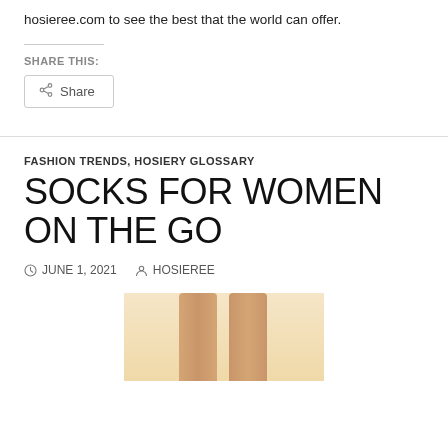hosieree.com to see the best that the world can offer.
SHARE THIS:
Share
FASHION TRENDS, HOSIERY GLOSSARY
SOCKS FOR WOMEN ON THE GO
JUNE 1, 2021   HOSIEREE
[Figure (photo): Cropped photo of a woman's legs on a light yellow background, showing bare legs from mid-thigh down]